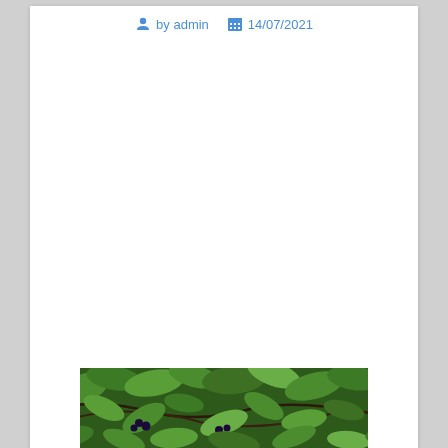by admin  14/07/2021
[Figure (photo): Photograph of green leafy plant with dark berries, visible at the bottom of the page]